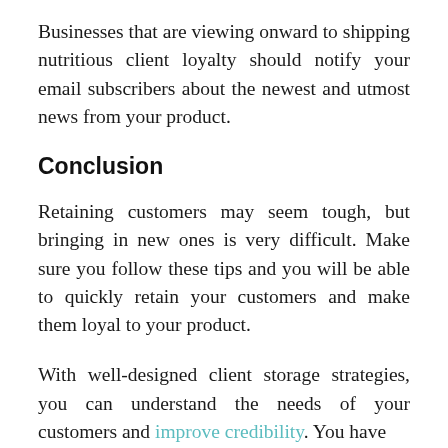Businesses that are viewing onward to shipping nutritious client loyalty should notify your email subscribers about the newest and utmost news from your product.
Conclusion
Retaining customers may seem tough, but bringing in new ones is very difficult. Make sure you follow these tips and you will be able to quickly retain your customers and make them loyal to your product.
With well-designed client storage strategies, you can understand the needs of your customers and improve credibility. You have